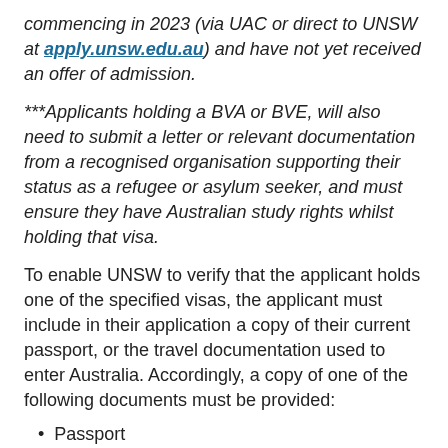commencing in 2023 (via UAC or direct to UNSW at apply.unsw.edu.au) and have not yet received an offer of admission.
***Applicants holding a BVA or BVE, will also need to submit a letter or relevant documentation from a recognised organisation supporting their status as a refugee or asylum seeker, and must ensure they have Australian study rights whilst holding that visa.
To enable UNSW to verify that the applicant holds one of the specified visas, the applicant must include in their application a copy of their current passport, or the travel documentation used to enter Australia. Accordingly, a copy of one of the following documents must be provided:
Passport
Immicard
Travel document